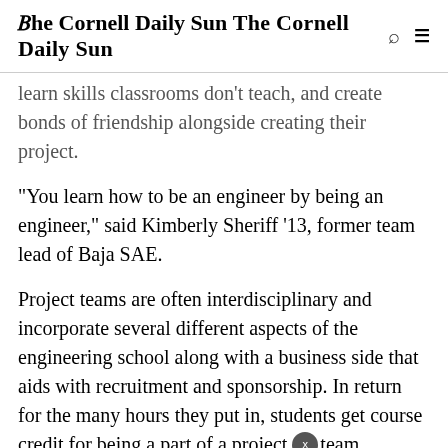The Cornell Daily Sun
learn skills classrooms don’t teach, and create bonds of friendship alongside creating their project.
“You learn how to be an engineer by being an engineer,” said Kimberly Sheriff ’13, former team lead of Baja SAE.
Project teams are often interdisciplinary and incorporate several different aspects of the engineering school along with a business side that aids with recruitment and sponsorship. In return for the many hours they put in, students get course credit for being a part of a project team.
“It’s a great experience for getting a job, not only do companies know what we do, you also learn useful skills you don’t necessarily get in classes, said Alex Masetti ’14,